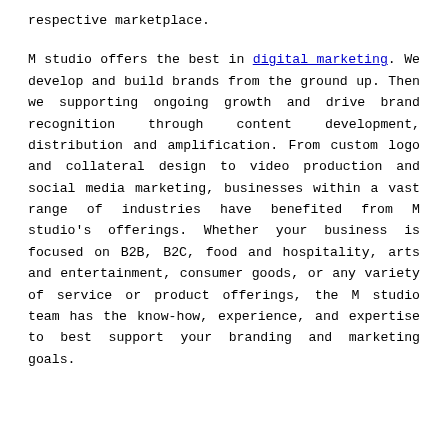respective marketplace.
M studio offers the best in digital marketing. We develop and build brands from the ground up. Then we supporting ongoing growth and drive brand recognition through content development, distribution and amplification. From custom logo and collateral design to video production and social media marketing, businesses within a vast range of industries have benefited from M studio's offerings. Whether your business is focused on B2B, B2C, food and hospitality, arts and entertainment, consumer goods, or any variety of service or product offerings, the M studio team has the know-how, experience, and expertise to best support your branding and marketing goals.